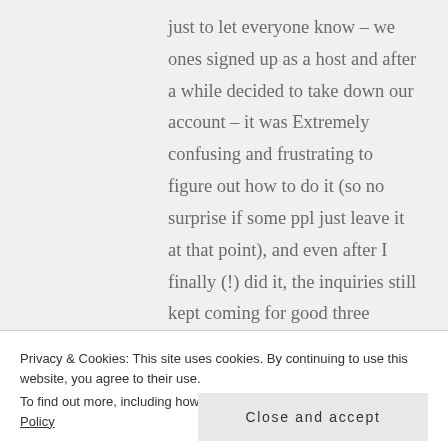just to let everyone know – we ones signed up as a host and after a while decided to take down our account – it was Extremely confusing and frustrating to figure out how to do it (so no surprise if some ppl just leave it at that point), and even after I finally (!) did it, the inquiries still kept coming for good three weeks after that 0_o And I also had communication difficulties on the
Privacy & Cookies: This site uses cookies. By continuing to use this website, you agree to their use.
To find out more, including how to control cookies, see here: Cookie Policy
Close and accept
just wanted to let ppl know – it is